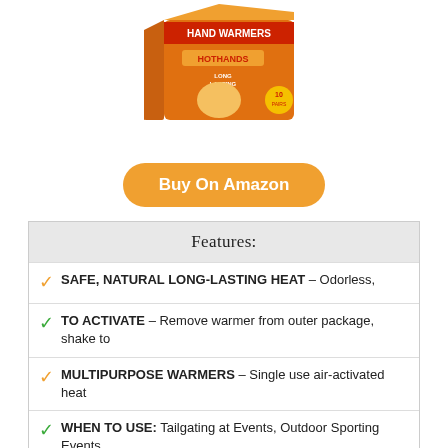[Figure (photo): Product photo of HotHands Hand Warmers box, orange packaging labeled HAND WARMERS HOTHANDS LONG LASTING HEAT 10 pairs]
Buy On Amazon
Features:
SAFE, NATURAL LONG-LASTING HEAT – Odorless,
TO ACTIVATE – Remove warmer from outer package, shake to
MULTIPURPOSE WARMERS – Single use air-activated heat
WHEN TO USE: Tailgating at Events, Outdoor Sporting Events,
8. THEOPOT BORE SIGHT KIT RED BORESIGHTER WITH BUTTON SWITCH FOR.17 TO 12GA CALIBER RIFLES HANDGUN RED LASER SIGHT